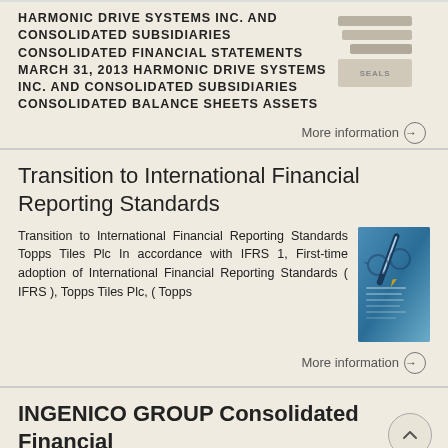HARMONIC DRIVE SYSTEMS INC. AND CONSOLIDATED SUBSIDIARIES CONSOLIDATED FINANCIAL STATEMENTS MARCH 31, 2013 HARMONIC DRIVE SYSTEMS INC. AND CONSOLIDATED SUBSIDIARIES CONSOLIDATED BALANCE SHEETS ASSETS
More information →
Transition to International Financial Reporting Standards
Transition to International Financial Reporting Standards Topps Tiles Plc In accordance with IFRS 1, First-time adoption of International Financial Reporting Standards ( IFRS ), Topps Tiles Plc, ( Topps
[Figure (photo): Close-up photo of a pen on financial documents with blue tones]
More information →
INGENICO GROUP Consolidated Financial